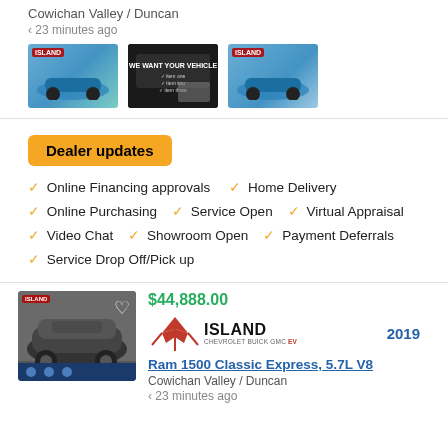Cowichan Valley / Duncan
< 23 minutes ago
[Figure (photo): Three thumbnail images: blue car side view, 'We Want Your Vehicle' dealership sign, blue car rear view]
Dealer updates
Online Financing approvals
Home Delivery
Online Purchasing
Service Open
Virtual Appraisal
Video Chat
Showroom Open
Payment Deferrals
Service Drop Off/Pick up
$44,888.00
[Figure (logo): Island Chevrolet Buick GMC EV logo with red maple leaf]
2019
Ram 1500 Classic Express, 5.7L V8
Cowichan Valley / Duncan
< 23 minutes ago